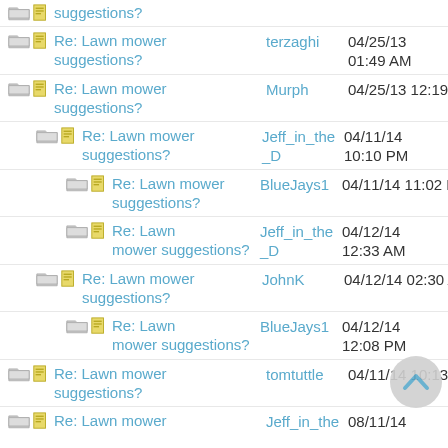Re: Lawn mower suggestions? | terzaghi | 04/25/13 01:49 AM
Re: Lawn mower suggestions? | Murph | 04/25/13 12:19 PM
Re: Lawn mower suggestions? | Jeff_in_the_D | 04/11/14 10:10 PM
Re: Lawn mower suggestions? | BlueJays1 | 04/11/14 11:02 PM
Re: Lawn mower suggestions? | Jeff_in_the_D | 04/12/14 12:33 AM
Re: Lawn mower suggestions? | JohnK | 04/12/14 02:30 AM
Re: Lawn mower suggestions? | BlueJays1 | 04/12/14 12:08 PM
Re: Lawn mower suggestions? | tomtuttle | 04/11/14 10:13 PM
Re: Lawn mower suggestions? | Jeff_in_the | 08/11/14